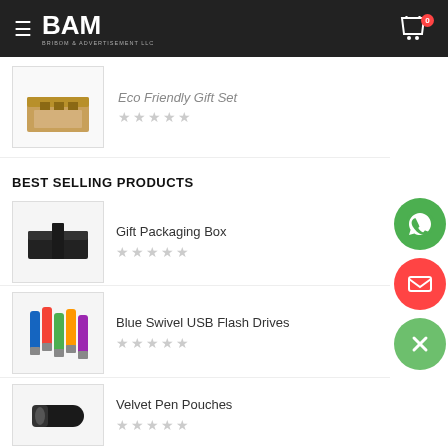[Figure (screenshot): Website header with BAM (Bribom & Advertisement LLC) logo on dark background, hamburger menu icon on left, shopping cart with 0 badge on right]
[Figure (photo): Partial product image - Eco Friendly Gift Set in wooden box, with 0-star rating]
BEST SELLING PRODUCTS
[Figure (photo): Gift Packaging Box - black rectangular box product image]
Gift Packaging Box
[Figure (photo): Blue Swivel USB Flash Drives - multiple colorful USB drives]
Blue Swivel USB Flash Drives
[Figure (photo): Velvet Pen Pouches product image]
Velvet Pen Pouches